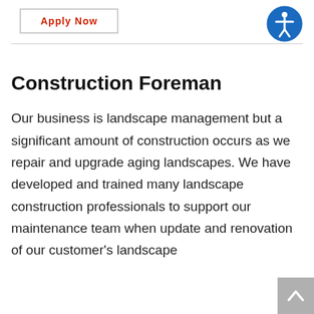[Figure (other): Apply Now button with red text and grey border]
[Figure (other): Accessibility icon — blue circle with white figure person symbol]
Construction Foreman
Our business is landscape management but a significant amount of construction occurs as we repair and upgrade aging landscapes. We have developed and trained many landscape construction professionals to support our maintenance team when update and renovation of our customer's landscape